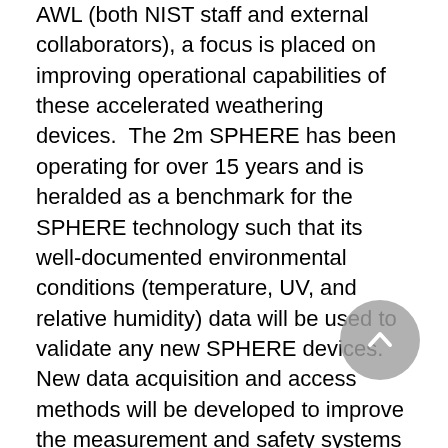AWL (both NIST staff and external collaborators), a focus is placed on improving operational capabilities of these accelerated weathering devices.  The 2m SPHERE has been operating for over 15 years and is heralded as a benchmark for the SPHERE technology such that its well-documented environmental conditions (temperature, UV, and relative humidity) data will be used to validate any new SPHERE devices. New data acquisition and access methods will be developed to improve the measurement and safety systems in the AWL.  Extensive SPHERE irradiance calibration using a new spectral radiometer system will be completed to maintain accurate irradiance values for any weathering device and provide a commercial irradiance measurement system. Statistical methods for uncertainty analysis and computational modeling will be used to systematically examine and improve the accuracy and control of all devices. Current NIST methodologies used for generating weathering data will be developed into standardized test methods and utilized to provide publicly available reference